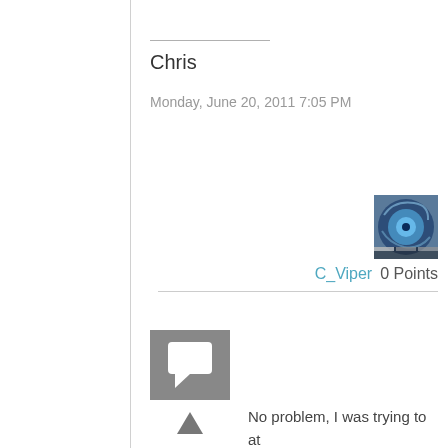Chris
Monday, June 20, 2011 7:05 PM
[Figure (photo): User avatar thumbnail for C_Viper showing a stylized circular image]
C_Viper   0 Points
[Figure (other): Gray reply/comment icon square]
0
Sign in to vote
No problem, I was trying to at